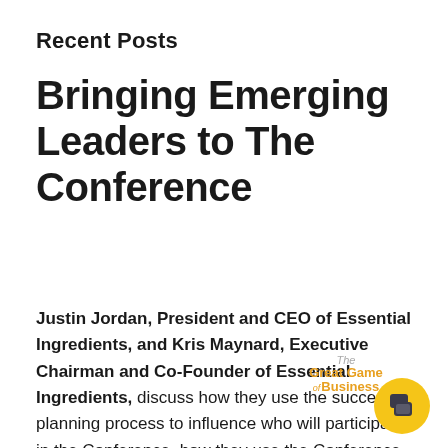Recent Posts
Bringing Emerging Leaders to The Conference
Justin Jordan, President and CEO of Essential Ingredients, and Kris Maynard, Executive Chairman and Co-Founder of Essential Ingredients, discuss how they use the succession planning process to influence who will participate in the Conference, how they use the Conference
[Figure (logo): The Great Game of Business logo in orange/gold text]